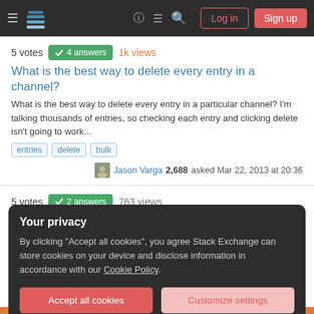Stack Exchange navigation bar with Log in and Sign up buttons
5 votes  4 answers  1k views
What is the best way to delete every entry in a channel?
What is the best way to delete every entry in a particular channel? I'm talking thousands of entries, so checking each entry and clicking delete isn't going to work...
entries
delete
bulk
Jason Varga 2,688 asked Mar 22, 2013 at 20:36
5 votes  2 answers  763 views
Bulk entry status change
Is there a way to change the status of a number of entries at one time? I know you can select a number of checkboxes and then edit all, but thats still time consuming ...
Your privacy
By clicking "Accept all cookies", you agree Stack Exchange can store cookies on your device and disclose information in accordance with our Cookie Policy.
Accept all cookies  Customize settings